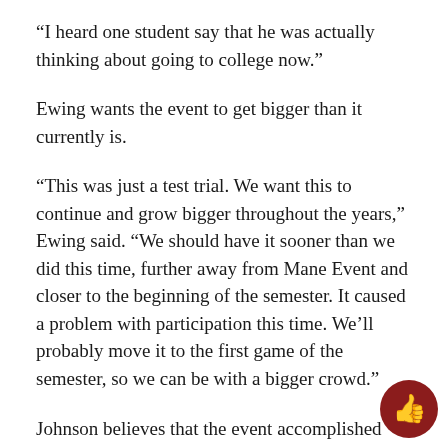“I heard one student say that he was actually thinking about going to college now.”
Ewing wants the event to get bigger than it currently is.
“This was just a test trial. We want this to continue and grow bigger throughout the years,” Ewing said. “We should have it sooner than we did this time, further away from Mane Event and closer to the beginning of the semester. It caused a problem with participation this time. We’ll probably move it to the first game of the semester, so we can be with a bigger crowd.”
Johnson believes that the event accomplished what it was supposed to.
“ I was 10 of 22 AVID students to attend Commerce. When you look at the statistics, you’re more likely to have a high paying job and better economic status it you get a college education. Getting [African-American students] to see that